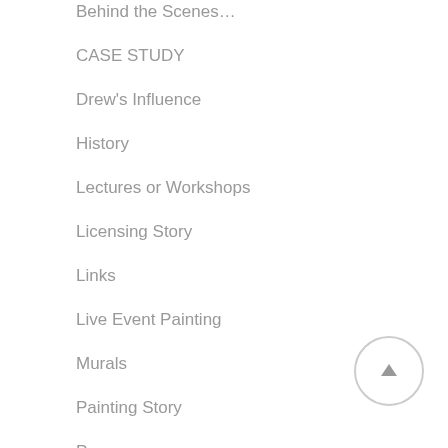Behind the Scenes…
CASE STUDY
Drew's Influence
History
Lectures or Workshops
Licensing Story
Links
Live Event Painting
Murals
Painting Story
Press
Shows & Events